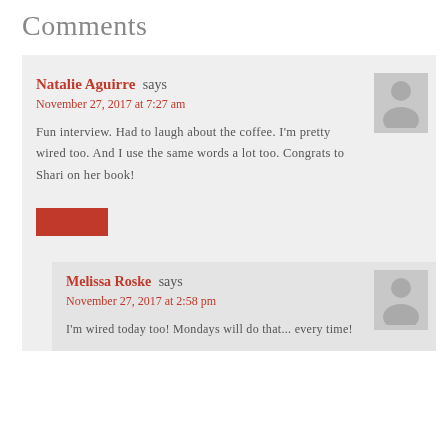Comments
Natalie Aguirre says
November 27, 2017 at 7:27 am
Fun interview. Had to laugh about the coffee. I'm pretty wired too. And I use the same words a lot too. Congrats to Shari on her book!
Melissa Roske says
November 27, 2017 at 2:58 pm
I'm wired today too! Mondays will do that... every time!